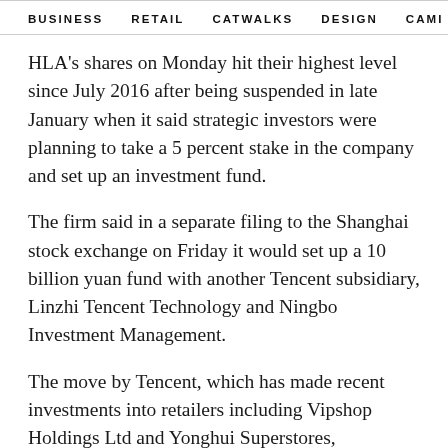BUSINESS   RETAIL   CATWALKS   DESIGN   CAMI   >
HLA's shares on Monday hit their highest level since July 2016 after being suspended in late January when it said strategic investors were planning to take a 5 percent stake in the company and set up an investment fund.
The firm said in a separate filing to the Shanghai stock exchange on Friday it would set up a 10 billion yuan fund with another Tencent subsidiary, Linzhi Tencent Technology and Ningbo Investment Management.
The move by Tencent, which has made recent investments into retailers including Vipshop Holdings Ltd and Yonghui Superstores, intensifies its rivalry in retail with internet giant Alibaba Group Holding Ltd.